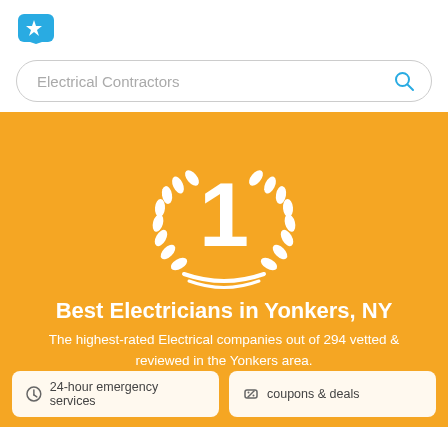[Figure (logo): Teal speech bubble with a white star inside, serving as a logo/icon in the top left header area]
Electrical Contractors
[Figure (illustration): Hero banner with teal and orange diagonal design featuring a white laurel wreath with the number 1 in the center]
Best Electricians in Yonkers, NY
The highest-rated Electrical companies out of 294 vetted & reviewed in the Yonkers area.
24-hour emergency services
coupons & deals